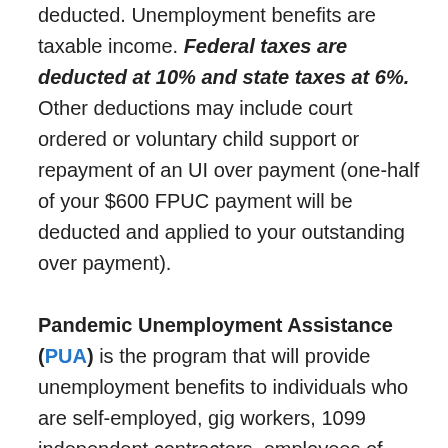deducted. Unemployment benefits are taxable income. Federal taxes are deducted at 10% and state taxes at 6%. Other deductions may include court ordered or voluntary child support or repayment of an UI over payment (one-half of your $600 FPUC payment will be deducted and applied to your outstanding over payment).
Pandemic Unemployment Assistance (PUA) is the program that will provide unemployment benefits to individuals who are self-employed, gig workers, 1099 independent contractors, employees of churches, employees of non-profits, or those with limited work history who do not qualify for state unemployment